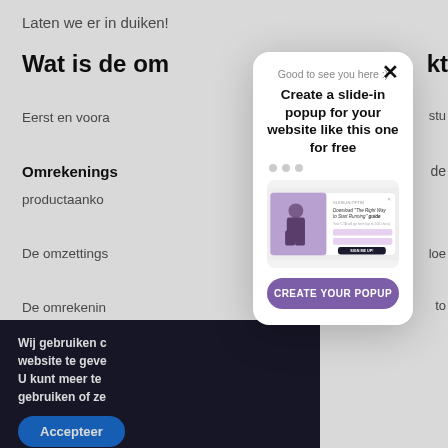Laten we er in duiken!
Wat is de om... kt
Eerst en voora... stu
Omrekenings... de
productaanko
De omzettings... loe
De omreken... to
Wij gebruiken c... website te geve... U kunt meer te... gebruiken of ze
Accepteer
[Figure (screenshot): Slide-in popup advertisement showing: close button (×), subtitle 'Good to see you here :)', bold title 'Create a slide-in popup for your website like this one for free', three pagination dots, a preview image of a fitness popup (man tying shoes, 'Download The Right Way to Start Running guide'), and a purple 'CREATE YOUR POPUP' button]